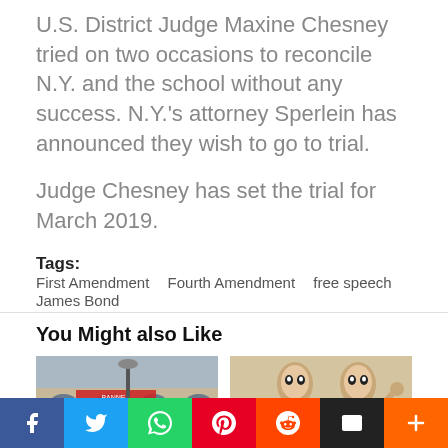U.S. District Judge Maxine Chesney tried on two occasions to reconcile N.Y. and the school without any success. N.Y.'s attorney Sperlein has announced they wish to go to trial.
Judge Chesney has set the trial for March 2019.
Tags: First Amendment  Fourth Amendment  free speech  James Bond
You Might also Like
[Figure (photo): Thumbnail image of a building with arched windows and a banner]
[Figure (photo): Thumbnail image of two people in a vintage style illustration]